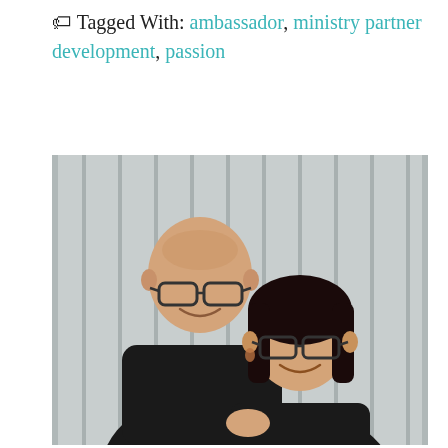🏷 Tagged With: ambassador, ministry partner development, passion
[Figure (photo): A smiling couple posing together in front of a light gray vertical-striped background. The man on the left is older, bald, wearing glasses and a black shirt. The woman on the right has dark hair, glasses, and is also wearing black.]